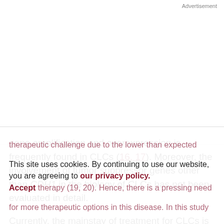Advertisement
gene amplification and overexpression is frequently found in CLCs (16, 17). Moreover, the involvement of tumor suppressor genes other than CDH1 in the biology of CLCs has not been evaluated in detail.
Currently, the mainstay of treatment for CLCs is with adjuvant endocrine therapy as they are usually positive for estrogen receptors. However, they continue to pose a therapeutic challenge due to the lower than expected response rates to endocrine therapy (18) and neoadjuvant therapy (19, 20). Hence, there is a pressing need for more therapeutic options in this disease. In this study